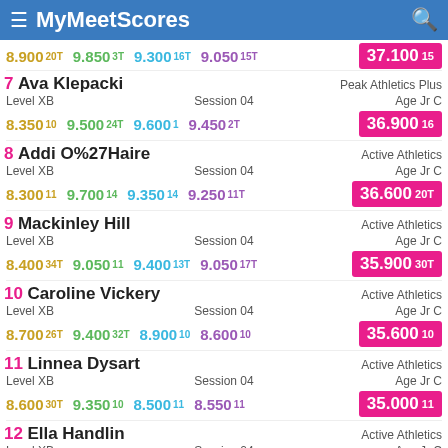MyMeetScores
| Place | Name | Gym | Level | Session | Age | Score1 | Score2 | Score3 | Score4 | Total |
| --- | --- | --- | --- | --- | --- | --- | --- | --- | --- | --- |
|  |  |  |  |  |  | 8.900 20T | 9.850 3T | 9.300 16T | 9.050 15T | 37.100 15 |
| 7 | Ava Klepacki | Peak Athletics Plus | Level XB | Session 04 | Age Jr C | 8.350 10 | 9.500 24T | 9.600 1 | 9.450 2T | 36.900 16 |
| 8 | Addi O%27Haire | Active Athletics | Level XB | Session 04 | Age Jr C | 8.300 11 | 9.700 14 | 9.350 14 | 9.250 11T | 36.600 20T |
| 9 | Mackinley Hill | Active Athletics | Level XB | Session 04 | Age Jr C | 8.400 34T | 9.050 11 | 9.400 13T | 9.050 17T | 35.900 30T |
| 10 | Caroline Vickery | Active Athletics | Level XB | Session 04 | Age Jr C | 8.700 26T | 9.400 32T | 8.900 10 | 8.600 10 | 35.600 10 |
| 11 | Linnea Dysart | Active Athletics | Level XB | Session 04 | Age Jr C | 8.600 30T | 9.350 10 | 8.500 11 | 8.550 11 | 35.000 11 |
| 12 | Ella Handlin | Active Athletics | Level XB | Session 04 | Age Jr C | 8.250 12 | 8.700 12 | 7.500 12 | 8.100 12 | 32.550 12 |